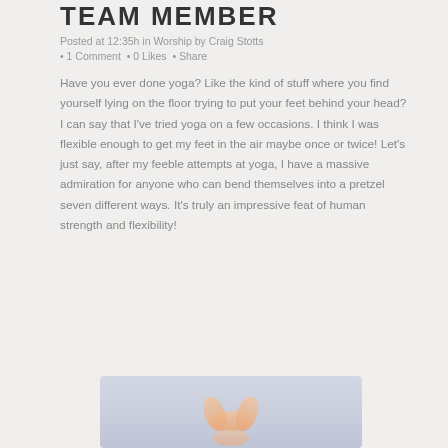TEAM MEMBER
Posted at 12:35h in Worship by Craig Stotts
• 1 Comment  •  0 Likes  •  Share
Have you ever done yoga? Like the kind of stuff where you find yourself lying on the floor trying to put your feet behind your head? I can say that I've tried yoga on a few occasions. I think I was flexible enough to get my feet in the air maybe once or twice! Let's just say, after my feeble attempts at yoga, I have a massive admiration for anyone who can bend themselves into a pretzel seven different ways. It's truly an impressive feat of human strength and flexibility!
[Figure (photo): Photo of a person doing yoga, partially visible at bottom of page, against a light blue/lavender background]